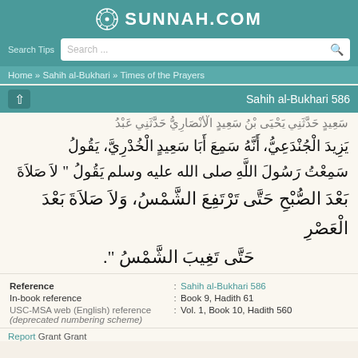SUNNAH.COM
Search Tips  Search ...
Home » Sahih al-Bukhari » Times of the Prayers
Sahih al-Bukhari 586
Arabic hadith text (partial, top line cut off)
يَزِيدَ الْجُنْدَعِيُّ، أَنَّهُ سَمِعَ أَبَا سَعِيدٍ الْخُدْرِيَّ، يَقُولُ سَمِعْتُ رَسُولَ اللَّهِ صلى الله عليه وسلم يَقُولُ ‏"‏ لاَ صَلاَةَ بَعْدَ الصُّبْح حَتَّى تَرْتَفِعَ الشَّمْسُ، وَلاَ صَلاَةَ بَعْدَ الْعَصْر حَتَّى تَغِيبَ الشَّمْسُ ‏"‏.
| Reference | : | Value |
| --- | --- | --- |
| Reference | : | Sahih al-Bukhari 586 |
| In-book reference | : | Book 9, Hadith 61 |
| USC-MSA web (English) reference (deprecated numbering scheme) | : | Vol. 1, Book 10, Hadith 560 |